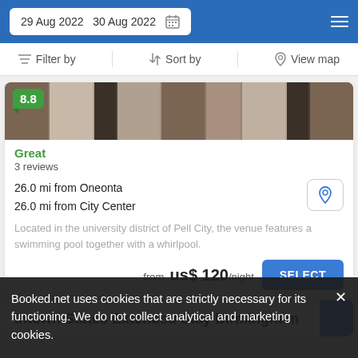29 Aug 2022  30 Aug 2022
Filter by  Sort by  View map
[Figure (photo): Hotel exterior photo showing brick building with columns]
8.8
Great
3 reviews
26.0 mi from Oneonta
26.0 mi from City Center
Located in the university district of Pell City, the venue features a swimming pool together with a whirlpool.
from  us$ 120/night
SELECT
Intown Suites Extended Stay Birmingham
Booked.net uses cookies that are strictly necessary for its functioning. We do not collect analytical and marketing cookies.